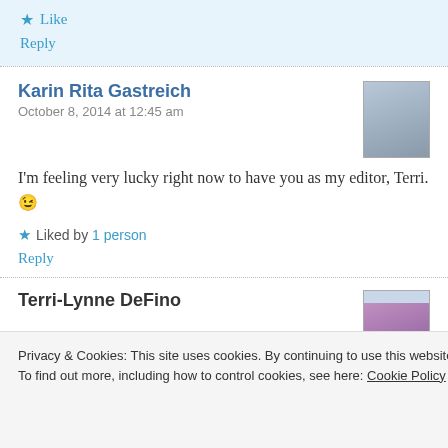Like
Reply
Karin Rita Gastreich
October 8, 2014 at 12:45 am
[Figure (photo): Profile photo of Karin Rita Gastreich, a woman with long hair]
I'm feeling very lucky right now to have you as my editor, Terri. 😉
Liked by 1 person
Reply
Terri-Lynne DeFino
[Figure (photo): Profile photo of Terri-Lynne DeFino, a person with a purple hat]
Privacy & Cookies: This site uses cookies. By continuing to use this website, you agree to their use.
To find out more, including how to control cookies, see here: Cookie Policy
Close and accept